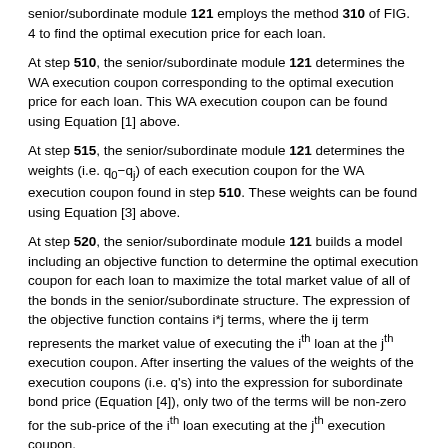senior/subordinate module 121 employs the method 310 of FIG. 4 to find the optimal execution price for each loan.
At step 510, the senior/subordinate module 121 determines the WA execution coupon corresponding to the optimal execution price for each loan. This WA execution coupon can be found using Equation [1] above.
At step 515, the senior/subordinate module 121 determines the weights (i.e. q0−qj) of each execution coupon for the WA execution coupon found in step 510. These weights can be found using Equation [3] above.
At step 520, the senior/subordinate module 121 builds a model including an objective function to determine the optimal execution coupon for each loan to maximize the total market value of all of the bonds in the senior/subordinate structure. The expression of the objective function contains i*j terms, where the ij term represents the market value of executing the ith loan at the jth execution coupon. After inserting the values of the weights of the execution coupons (i.e. q's) into the expression for subordinate bond price (Equation [4]), only two of the terms will be non-zero for the sub-price of the ith loan executing at the jth execution coupon.
As the method 200 of FIG. 2 iterates step 215, different WA execution coupons can be used to maximize the objective function. The iterations can begin with the WA execution coupon found in step 510 and the senior/subordinate module 121 can search around this WA execution